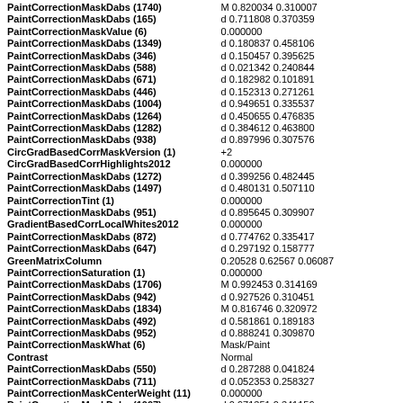| Key | Value |
| --- | --- |
| PaintCorrectionMaskDabs (1740) | M 0.820034 0.310007 |
| PaintCorrectionMaskDabs (165) | d 0.711808 0.370359 |
| PaintCorrectionMaskValue (6) | 0.000000 |
| PaintCorrectionMaskDabs (1349) | d 0.180837 0.458106 |
| PaintCorrectionMaskDabs (346) | d 0.150457 0.395625 |
| PaintCorrectionMaskDabs (588) | d 0.021342 0.240844 |
| PaintCorrectionMaskDabs (671) | d 0.182982 0.101891 |
| PaintCorrectionMaskDabs (446) | d 0.152313 0.271261 |
| PaintCorrectionMaskDabs (1004) | d 0.949651 0.335537 |
| PaintCorrectionMaskDabs (1264) | d 0.450655 0.476835 |
| PaintCorrectionMaskDabs (1282) | d 0.384612 0.463800 |
| PaintCorrectionMaskDabs (938) | d 0.897996 0.307576 |
| CircGradBasedCorrMaskVersion (1) | +2 |
| CircGradBasedCorrHighlights2012 | 0.000000 |
| PaintCorrectionMaskDabs (1272) | d 0.399256 0.482445 |
| PaintCorrectionMaskDabs (1497) | d 0.480131 0.507110 |
| PaintCorrectionTint (1) | 0.000000 |
| PaintCorrectionMaskDabs (951) | d 0.895645 0.309907 |
| GradientBasedCorrLocalWhites2012 | 0.000000 |
| PaintCorrectionMaskDabs (872) | d 0.774762 0.335417 |
| PaintCorrectionMaskDabs (647) | d 0.297192 0.158777 |
| GreenMatrixColumn | 0.20528 0.62567 0.06087 |
| PaintCorrectionSaturation (1) | 0.000000 |
| PaintCorrectionMaskDabs (1706) | M 0.992453 0.314169 |
| PaintCorrectionMaskDabs (942) | d 0.927526 0.310451 |
| PaintCorrectionMaskDabs (1834) | M 0.816746 0.320972 |
| PaintCorrectionMaskDabs (492) | d 0.581861 0.189183 |
| PaintCorrectionMaskDabs (952) | d 0.888241 0.309870 |
| PaintCorrectionMaskWhat (6) | Mask/Paint |
| Contrast | Normal |
| PaintCorrectionMaskDabs (550) | d 0.287288 0.041824 |
| PaintCorrectionMaskDabs (711) | d 0.052353 0.258327 |
| PaintCorrectionMaskCenterWeight (11) | 0.000000 |
| PaintCorrectionMaskDabs (1007) | d 0.971351 0.341156 |
| PaintCorrectionMaskDabs (1131) | M 0.942945 0.244830 |
| PaintCorrectionMaskDabs (144) | d 0.628850 0.358123 |
| PaintCorrectionMaskDabs (914) | d 0.856683 0.303318 |
| CreateDate (1) | 2009:05:27 09:13:29 |